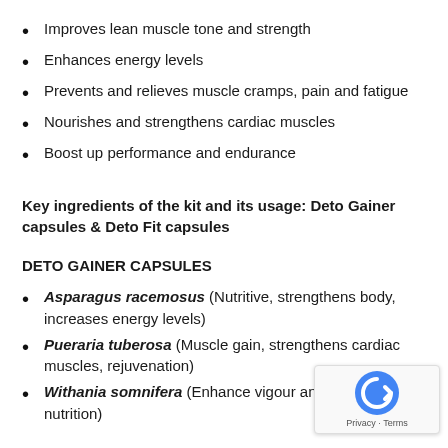Improves lean muscle tone and strength
Enhances energy levels
Prevents and relieves muscle cramps, pain and fatigue
Nourishes and strengthens cardiac muscles
Boost up performance and endurance
Key ingredients of the kit and its usage: Deto Gainer capsules & Deto Fit capsules
DETO GAINER CAPSULES
Asparagus racemosus (Nutritive, strengthens body, increases energy levels)
Pueraria tuberosa (Muscle gain, strengthens cardiac muscles, rejuvenation)
Withania somnifera (Enhance vigour and vitality, nutrition)